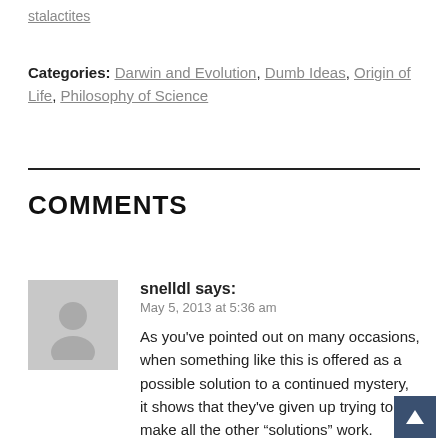stalactites
Categories: Darwin and Evolution, Dumb Ideas, Origin of Life, Philosophy of Science
COMMENTS
snelldl says:
May 5, 2013 at 5:36 am
As you've pointed out on many occasions, when something like this is offered as a possible solution to a continued mystery, it shows that they've given up trying to make all the other “solutions” work.
Log in to Reply